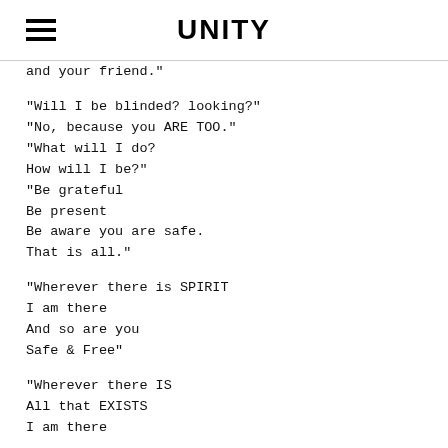UNITY
and your friend."
"Will I be blinded? looking?"
"No, because you ARE TOO."
"What will I do?
How will I be?"
"Be grateful
Be present
Be aware you are safe.
That is all."
"Wherever there is SPIRIT
I am there
And so are you
Safe & Free"
"Wherever there IS
All that EXISTS
I am there